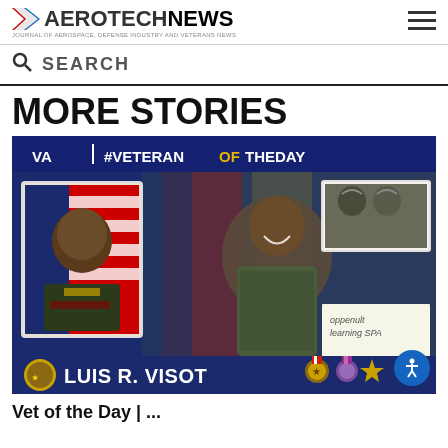AEROTECHNEWS — Journal of Aerospace, Defense Industry and Veterans News
SEARCH
MORE STORIES
[Figure (photo): VA #VETERANOFTHEDAY graphic featuring Luis R. Visot. Shows a military portrait photo of an African-American general in dress uniform on the left, a candid photo of him laughing in combat uniform in the center, soldiers in a helicopter cockpit on the upper right, and military medals at the bottom. Text reads: VA | #VETERANOFTHEDAY and LUIS R. VISOT with medal icons.]
Vet of the Day | ...